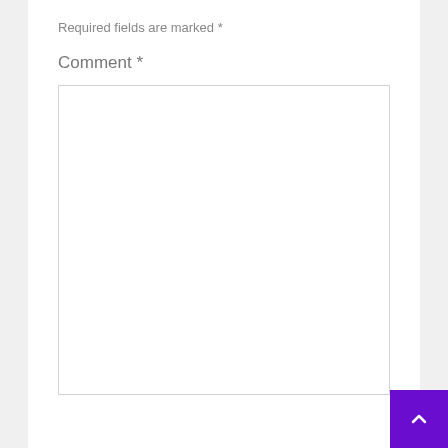Required fields are marked *
Comment *
[Figure (screenshot): Empty comment text area input box with light gray border]
[Figure (other): Purple back-to-top button with white chevron/caret up arrow in bottom right corner]